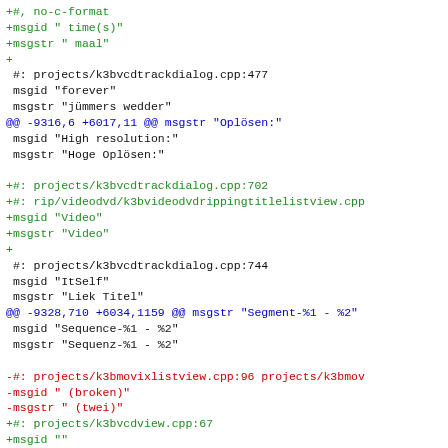diff/patch code block showing localization file changes with green additions, blue @@ markers, red deletions, and black context lines
[Figure (screenshot): Code diff output showing a patch/diff file with green lines starting with +, red lines starting with -, blue @@ hunk headers, and black context lines. Content relates to k3b localization string changes.]